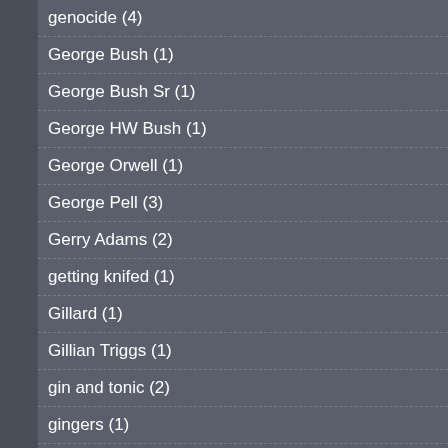genocide (4)
George Bush (1)
George Bush Sr (1)
George HW Bush (1)
George Orwell (1)
George Pell (3)
Gerry Adams (2)
getting knifed (1)
Gillard (1)
Gillian Triggs (1)
gin and tonic (2)
gingers (1)
glassings (1)
global poverty (1)
goat fucking (1)
God (2)
God's Away on Business (1)